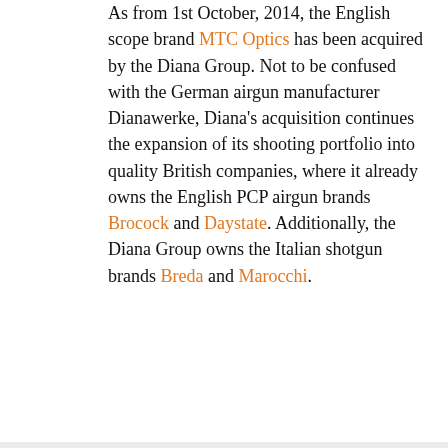As from 1st October, 2014, the English scope brand MTC Optics has been acquired by the Diana Group. Not to be confused with the German airgun manufacturer Dianawerke, Diana's acquisition continues the expansion of its shooting portfolio into quality British companies, where it already owns the English PCP airgun brands Brocock and Daystate. Additionally, the Diana Group owns the Italian shotgun brands Breda and Marocchi.
In a statement on the acquisition, a spokesman for Diana said: "MTC Optics has a range of top-quality telescopic rifle sights and a well-established consumer base that will add an important contribution toward expanding the future growth and performance of the Group."
Airgun Shooter understands that MTC Optics has been acquired as a going concern, so all warranties and after-sales information remains unchanged – and MTC's existing management team of eight years, Gary and Sammie Cooper, will be remaining with the company for the foreseeable future. They told us: "As the takeover